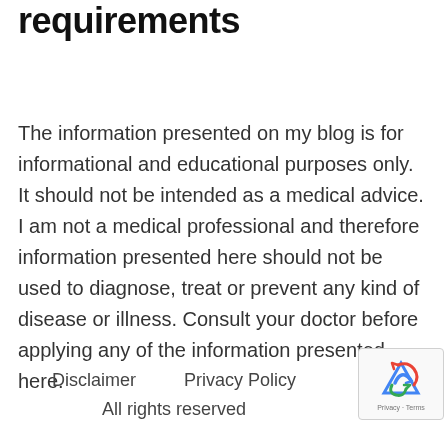requirements
The information presented on my blog is for informational and educational purposes only. It should not be intended as a medical advice. I am not a medical professional and therefore information presented here should not be used to diagnose, treat or prevent any kind of disease or illness. Consult your doctor before applying any of the information presented here.
Disclaimer   Privacy Policy   All rights reserved